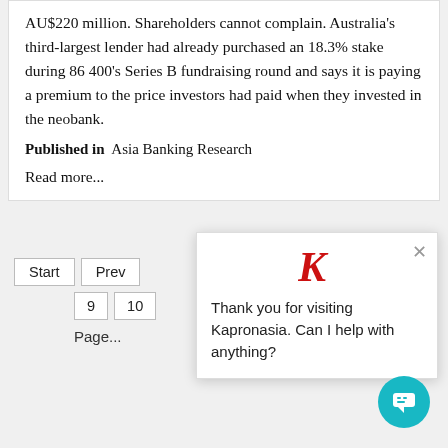AU$220 million. Shareholders cannot complain. Australia's third-largest lender had already purchased an 18.3% stake during 86 400's Series B fundraising round and says it is paying a premium to the price investors had paid when they invested in the neobank.
Published in  Asia Banking Research
Read more...
[Figure (screenshot): Chat popup from Kapronasia website with logo K in red, close button X, and message: Thank you for visiting Kapronasia. Can I help with anything?]
[Figure (screenshot): Teal chat bubble button in bottom right corner]
Start  Prev  9  10  Page...